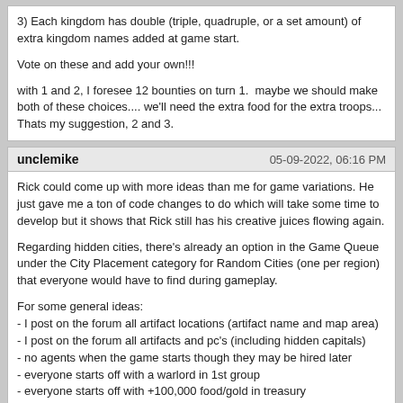3) Each kingdom has double (triple, quadruple, or a set amount) of extra kingdom names added at game start.

Vote on these and add your own!!!

with 1 and 2, I foresee 12 bounties on turn 1.  maybe we should make both of these choices.... we'll need the extra food for the extra troops... Thats my suggestion, 2 and 3.
unclemike
05-09-2022, 06:16 PM
Rick could come up with more ideas than me for game variations. He just gave me a ton of code changes to do which will take some time to develop but it shows that Rick still has his creative juices flowing again.

Regarding hidden cities, there's already an option in the Game Queue under the City Placement category for Random Cities (one per region) that everyone would have to find during gameplay.

For some general ideas:
- I post on the forum all artifact locations (artifact name and map area)
- I post on the forum all artifacts and pc's (including hidden capitals)
- no agents when the game starts though they may be hired later
- everyone starts off with a warlord in 1st group
- everyone starts off with +100,000 food/gold in treasury
- dare I say, all wizards become pwr-8